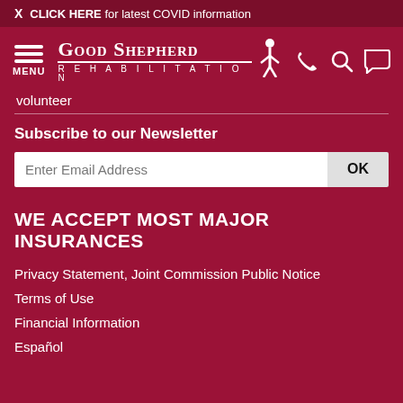X  CLICK HERE for latest COVID information
[Figure (logo): Good Shepherd Rehabilitation logo with menu icon and navigation icons (phone, search, chat)]
volunteer
Subscribe to our Newsletter
Enter Email Address  OK
WE ACCEPT MOST MAJOR INSURANCES
Privacy Statement, Joint Commission Public Notice
Terms of Use
Financial Information
Español